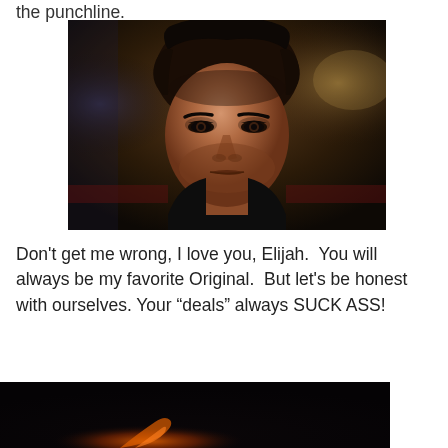the punchline.
[Figure (photo): Close-up photo of a dark-haired young man with an intense expression, wearing a dark shirt, with a dimly lit background.]
Don't get me wrong, I love you, Elijah.  You will always be my favorite Original.  But let's be honest with ourselves.  Your “deals” always SUCK ASS!
[Figure (photo): Partial dark image with warm orange/red light visible in the lower portion, partially cut off at bottom of page.]